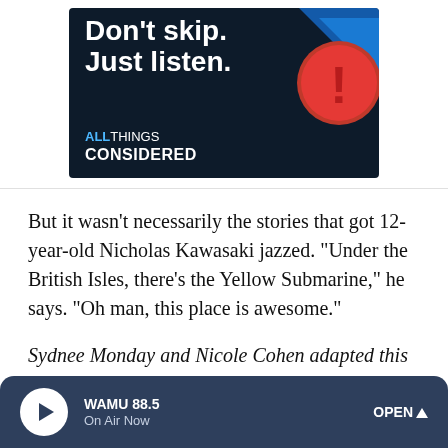[Figure (illustration): NPR All Things Considered advertisement banner with dark navy background, bold white text 'Don't skip. Just listen.' and colored graphic elements (blue triangles, red circle with exclamation mark). Shows 'ALL THINGS CONSIDERED' branding.]
But it wasn't necessarily the stories that got 12-year-old Nicholas Kawasaki jazzed. "Under the British Isles, there's the Yellow Submarine," he says. "Oh man, this place is awesome."
Sydnee Monday and Nicole Cohen adapted this story for the Web.
[Figure (screenshot): WAMU 88.5 radio player bar at the bottom showing play button, station name 'WAMU 88.5', 'On Air Now' status, and 'OPEN ^' button on dark blue background.]